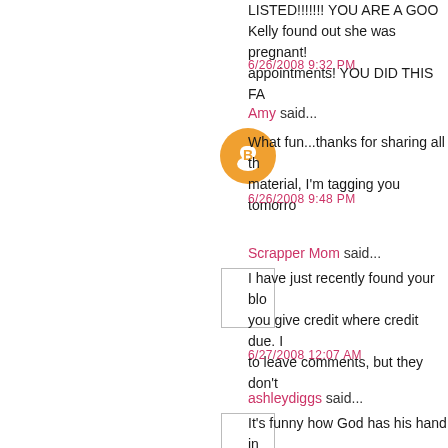LISTED!!!!!!! YOU ARE A GOO... Kelly found out she was pregnant!... appointments! YOU DID THIS FA...
6/26/2008 9:32 PM
Amy said...
What fun...thanks for sharing all th... material, I'm tagging you tomorro...
6/26/2008 9:48 PM
Scrapper Mom said...
I have just recently found your blo... you give credit where credit due. I... to leave comments, but they don't...
6/27/2008 12:07 AM
ashleydiggs said...
It's funny how God has his hand in...